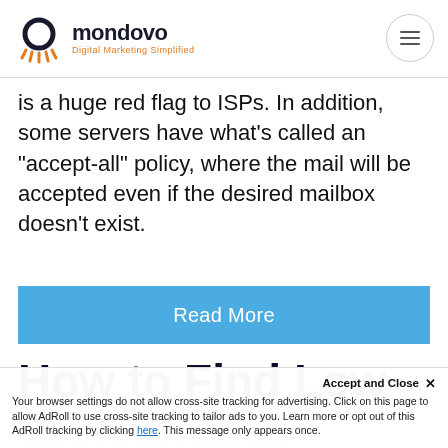mondovo — Digital Marketing Simplified
is a huge red flag to ISPs. In addition, some servers have what’s called an “accept-all” policy, where the mail will be accepted even if the desired mailbox doesn’t exist.
Read More
How to Find Low Competition Keywords for your website
Accept and Close × Your browser settings do not allow cross-site tracking for advertising. Click on this page to allow AdRoll to use cross-site tracking to tailor ads to you. Learn more or opt out of this AdRoll tracking by clicking here. This message only appears once.